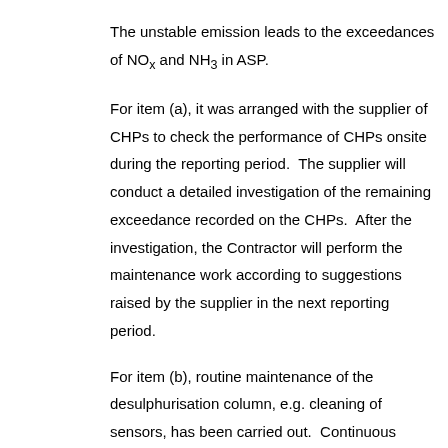The unstable emission leads to the exceedances of NOx and NH3 in ASP.
For item (a), it was arranged with the supplier of CHPs to check the performance of CHPs onsite during the reporting period.  The supplier will conduct a detailed investigation of the remaining exceedance recorded on the CHPs.  After the investigation, the Contractor will perform the maintenance work according to suggestions raised by the supplier in the next reporting period.
For item (b), routine maintenance of the desulphurisation column, e.g. cleaning of sensors, has been carried out.  Continuous monitoring of the desulphurisation column will remain in place to